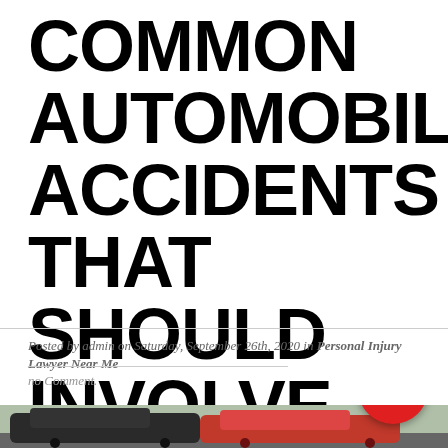COMMON AUTOMOBILE ACCIDENTS THAT SHOULD INVOLVE LAWYERS
Posted by admin on Saturday, September 26th, 2020 in Personal Injury Lawyer Near Me
no Comment.
[Figure (photo): Photo of cars on a road, partially visible at bottom of page, with a red phone/call button icon in the lower right corner]